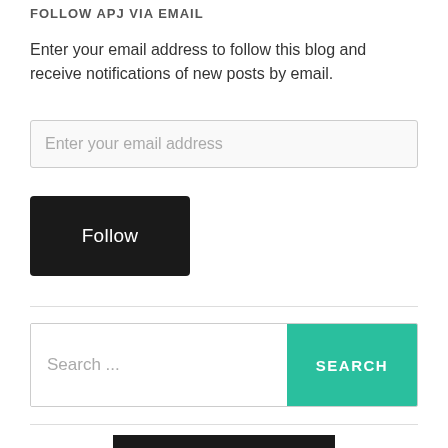FOLLOW APJ VIA EMAIL
Enter your email address to follow this blog and receive notifications of new posts by email.
Enter your email address
Follow
Search ...
SEARCH
10% OFF WITH CODE